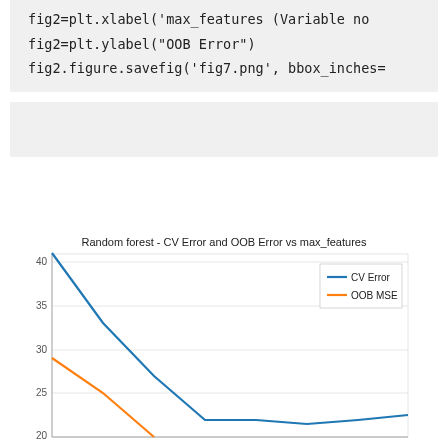fig2=plt.xlabel('max_features (Variable no...
fig2=plt.ylabel("OOB Error")
fig2.figure.savefig('fig7.png', bbox_inches=...
(empty code cell)
[Figure (line-chart): Random forest - CV Error and OOB Error vs max_features]